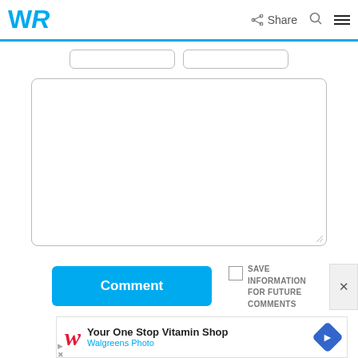WR | Share
[Figure (screenshot): Two input fields side by side with rounded borders]
[Figure (screenshot): Large text area input box with resize handle]
[Figure (screenshot): Blue Comment button]
SAVE INFORMATION FOR FUTURE COMMENTS
[Figure (screenshot): Walgreens ad: Your One Stop Vitamin Shop - Walgreens Photo with blue diamond arrow icon]